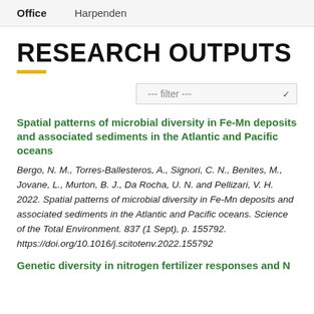Office   Harpenden
RESEARCH OUTPUTS
--- filter ---
Spatial patterns of microbial diversity in Fe-Mn deposits and associated sediments in the Atlantic and Pacific oceans
Bergo, N. M., Torres-Ballesteros, A., Signori, C. N., Benites, M., Jovane, L., Murton, B. J., Da Rocha, U. N. and Pellizari, V. H. 2022. Spatial patterns of microbial diversity in Fe-Mn deposits and associated sediments in the Atlantic and Pacific oceans. Science of the Total Environment. 837 (1 Sept), p. 155792. https://doi.org/10.1016/j.scitotenv.2022.155792
Genetic diversity in nitrogen fertilizer responses and N